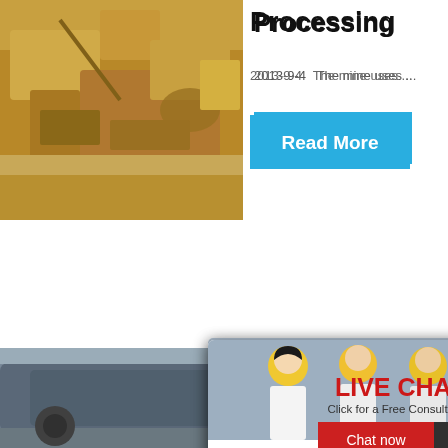[Figure (photo): Mining machinery/excavator in desert setting, golden/brown tones]
Processing
2013-9-4   The mine uses ...
[Figure (illustration): Blue Read More button]
[Figure (photo): Large industrial ball mill on factory floor]
[Figure (infographic): Live chat overlay popup with workers in yellow hard hats, LIVE CHAT text in red, Click for a Free Consultation, Chat now (red) and Chat later (dark) buttons]
hour online
[Figure (photo): Industrial jaw crusher machine, silver/grey color with red wheel]
Click me to chat>>
Enquiry
limingjlmofen